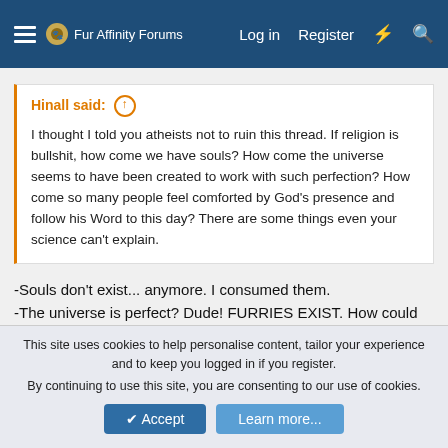Fur Affinity Forums  Log in  Register
Hinall said: ↑

I thought I told you atheists not to ruin this thread. If religion is bullshit, how come we have souls? How come the universe seems to have been created to work with such perfection? How come so many people feel comforted by God's presence and follow his Word to this day? There are some things even your science can't explain.
-Souls don't exist... anymore. I consumed them.
-The universe is perfect? Dude! FURRIES EXIST. How could the universe be any less perfect than that?!
-That one I can get behind, knowing that god always watches me fap is pretty hot.
-You got that wrong. Science could explain everything. It's just
This site uses cookies to help personalise content, tailor your experience and to keep you logged in if you register.
By continuing to use this site, you are consenting to our use of cookies.
Accept  Learn more...